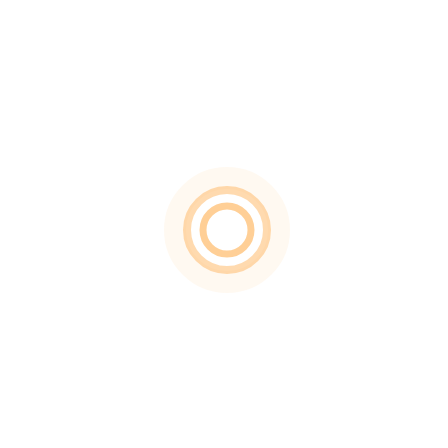[Figure (illustration): Concentric circles rendered in pale orange/peach tones on a white background. Two rings visible: an outer ring and an inner ring, both drawn with light orange strokes, centered slightly right of center and in the lower-middle portion of the page.]